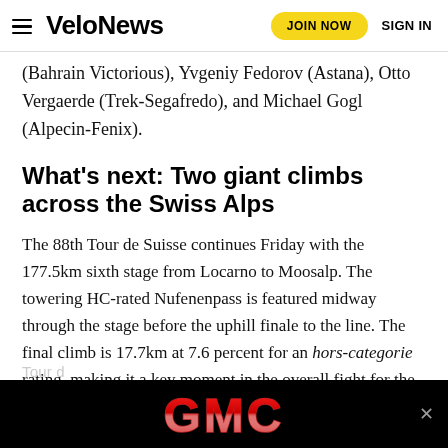VeloNews — JOIN NOW  SIGN IN
(Bahrain Victorious), Yvgeniy Fedorov (Astana), Otto Vergaerde (Trek-Segafredo), and Michael Gogl (Alpecin-Fenix).
What's next: Two giant climbs across the Swiss Alps
The 88th Tour de Suisse continues Friday with the 177.5km sixth stage from Locarno to Moosalp. The towering HC-rated Nufenenpass is featured midway through the stage before the uphill finale to the line. The final climb is 17.7km at 7.6 percent for an hors-categorie rating, making it a key moment in the overall fight for the GC.
[Figure (other): GMC advertisement banner with white GMC text on black background]
Tour d